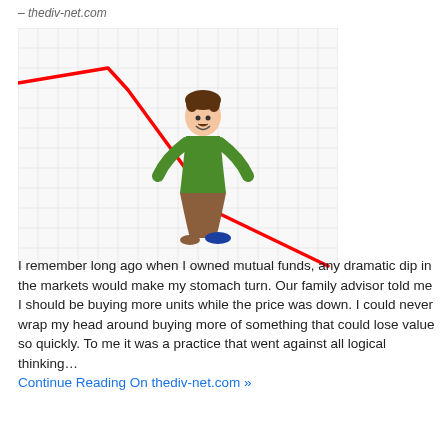– thediv-net.com
[Figure (illustration): A cartoon illustration of a man in a green shirt and brown pants, sliding down a sharply declining red line graph on a grid background, representing a market downturn.]
I remember long ago when I owned mutual funds, any dramatic dip in the markets would make my stomach turn. Our family advisor told me I should be buying more units while the price was down. I could never wrap my head around buying more of something that could lose value so quickly. To me it was a practice that went against all logical thinking…
Continue Reading On thediv-net.com »